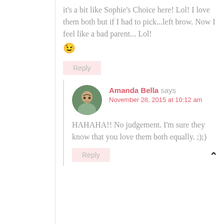it's a bit like Sophie's Choice here! Lol! I love them both but if I had to pick...left brow. Now I feel like a bad parent... Lol! 😉
Reply
Amanda Bella says: November 28, 2015 at 10:12 am
HAHAHA!! No judgement. I'm sure they know that you love them both equally. ;);)
Reply